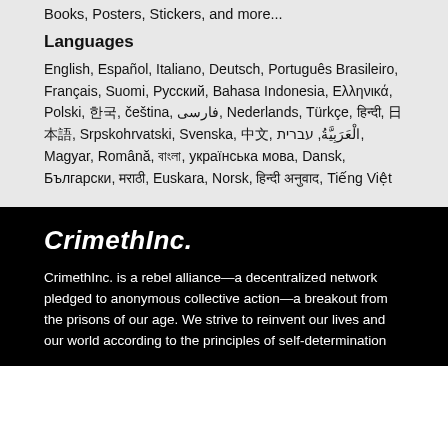Books, Posters, Stickers, and more...
Languages
English, Español, Italiano, Deutsch, Português Brasileiro, Français, Suomi, Русский, Bahasa Indonesia, Ελληνικά, Polski, 한국, čeština, فارسی, Nederlands, Türkçe, हिन्दी, 日本語, Srpskohrvatski, Svenska, 中文, الْعَرَبِيَّةُ, עברית, Magyar, Română, বাংলা, українська мова, Dansk, Български, मराठी, Euskara, Norsk, हिन्दी अनुवाद, Tiếng Việt
CrimethInc.
CrimethInc. is a rebel alliance—a decentralized network pledged to anonymous collective action—a breakout from the prisons of our age. We strive to reinvent our lives and our world according to the principles of self-determination